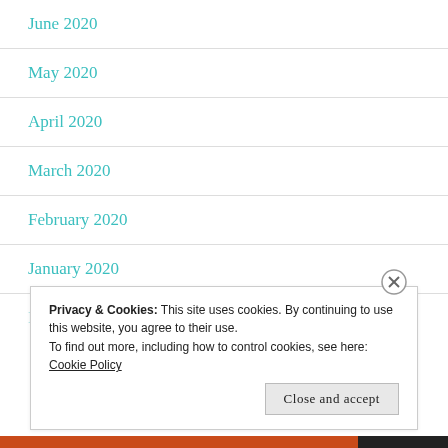June 2020
May 2020
April 2020
March 2020
February 2020
January 2020
Privacy & Cookies: This site uses cookies. By continuing to use this website, you agree to their use.
To find out more, including how to control cookies, see here: Cookie Policy
Close and accept